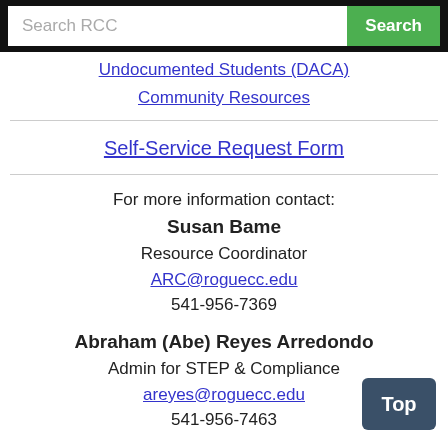Search RCC  Search
Undocumented Students (DACA)
Community Resources
Self-Service Request Form
For more information contact:
Susan Bame
Resource Coordinator
ARC@roguecc.edu
541-956-7369

Abraham (Abe) Reyes Arredondo
Admin for STEP & Compliance
areyes@roguecc.edu
541-956-7463